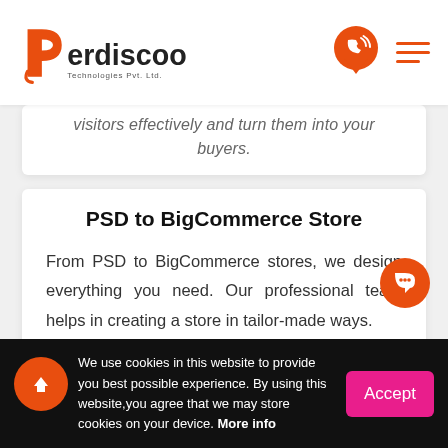Perdiscoo Technologies Pvt. Ltd.
visitors effectively and turn them into your buyers.
PSD to BigCommerce Store
From PSD to BigCommerce stores, we design everything you need. Our professional team helps in creating a store in tailor-made ways.
We use cookies in this website to provide you best possible experience. By using this website, you agree that we may store cookies on your device. More info
Accept